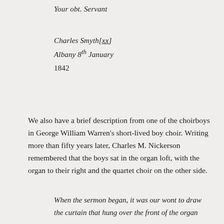Your obt. Servant
Charles Smyth[xx]
Albany 8th January
1842
We also have a brief description from one of the choirboys in George William Warren's short-lived boy choir. Writing more than fifty years later, Charles M. Nickerson remembered that the boys sat in the organ loft, with the organ to their right and the quartet choir on the other side.
When the sermon began, it was our wont to draw the curtain that hung over the front of the organ